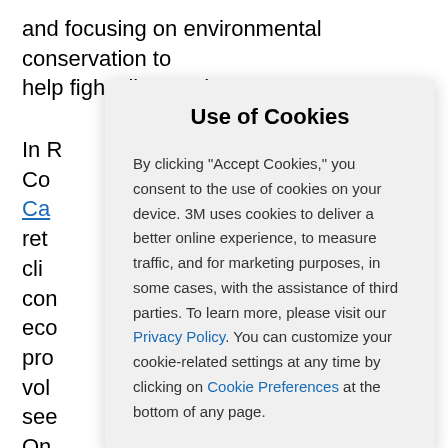and focusing on environmental conservation to help fight climate change.
In R
Co
Ca
ret
cli
con
eco
pro
vol                                                                of
see
On                                                               s
(GH
Use of Cookies
By clicking "Accept Cookies," you consent to the use of cookies on your device. 3M uses cookies to deliver a better online experience, to measure traffic, and for marketing purposes, in some cases, with the assistance of third parties. To learn more, please visit our Privacy Policy. You can customize your cookie-related settings at any time by clicking on Cookie Preferences at the bottom of any page.
plants, animals, and humans. We will continue to partner with Carolinian Canada throughout 2021